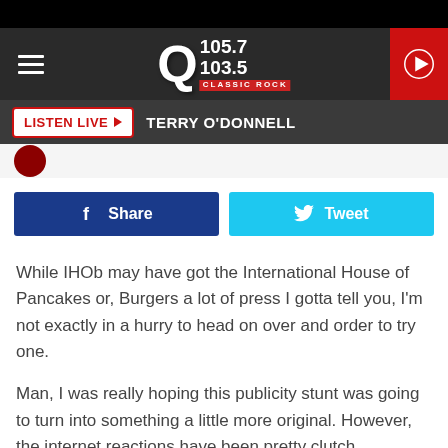[Figure (screenshot): Q105.7/103.5 Classic Rock radio station website header with logo, hamburger menu, and red play button]
LISTEN LIVE ▶  TERRY O'DONNELL
[Figure (screenshot): Facebook Share button and Twitter Tweet button row]
While IHOb may have got the International House of Pancakes or, Burgers a lot of press I gotta tell you, I'm not exactly in a hurry to head on over and order to try one.
Man, I was really hoping this publicity stunt was going to turn into something a little more original. However, the internet reactions have been pretty clutch.